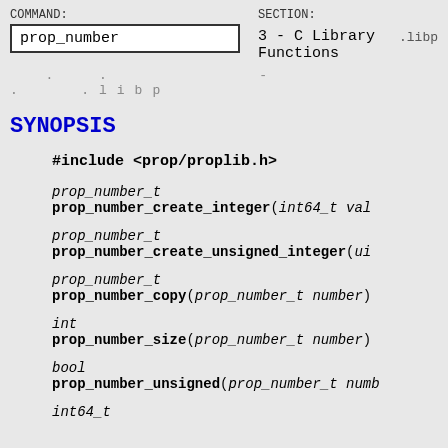COMMAND: prop_number  SECTION: 3 - C Library Functions  .libp
. . . - . .libp
SYNOPSIS
#include <prop/proplib.h>
prop_number_t
prop_number_create_integer(int64_t val
prop_number_t
prop_number_create_unsigned_integer(ui
prop_number_t
prop_number_copy(prop_number_t number)
int
prop_number_size(prop_number_t number)
bool
prop_number_unsigned(prop_number_t numb
int64_t